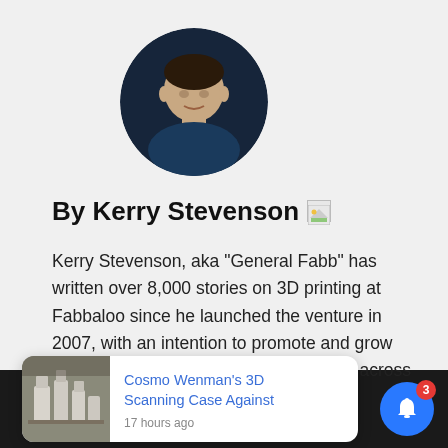[Figure (photo): Circular profile photo of Kerry Stevenson, a man with short hair against a dark background]
By Kerry Stevenson
Kerry Stevenson, aka "General Fabb" has written over 8,000 stories on 3D printing at Fabbaloo since he launched the venture in 2007, with an intention to promote and grow the incredible technology of 3D printing across the world. So
[Figure (screenshot): Notification card showing thumbnail image of 3D printed sculptures and text: Cosmo Wenman's 3D Scanning Case Against, 17 hours ago]